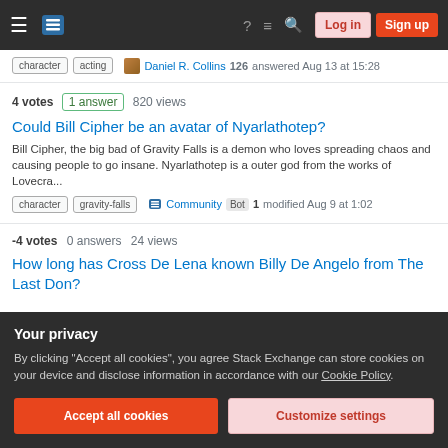Stack Exchange navigation bar with logo, icons, Log in and Sign up buttons
character  acting  Daniel R. Collins 126 answered Aug 13 at 15:28
4 votes  1 answer  820 views
Could Bill Cipher be an avatar of Nyarlathotep?
Bill Cipher, the big bad of Gravity Falls is a demon who loves spreading chaos and causing people to go insane. Nyarlathotep is a outer god from the works of Lovecra...
character  gravity-falls  Community Bot 1 modified Aug 9 at 1:02
-4 votes  0 answers  24 views
How long has Cross De Lena known Billy De Angelo from The Last Don?
Your privacy
By clicking "Accept all cookies", you agree Stack Exchange can store cookies on your device and disclose information in accordance with our Cookie Policy.
Accept all cookies   Customize settings
11 votes  2 answers  4k views